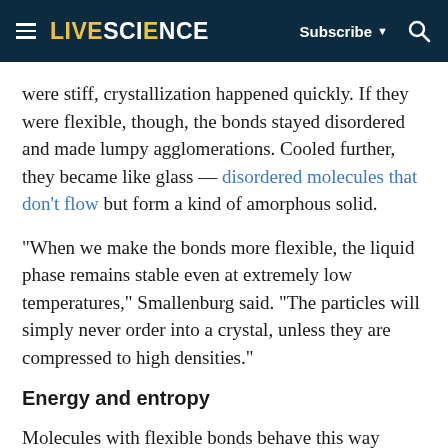LIVESCIENCE  Subscribe  🔍
were stiff, crystallization happened quickly. If they were flexible, though, the bonds stayed disordered and made lumpy agglomerations. Cooled further, they became like glass — disordered molecules that don't flow but form a kind of amorphous solid.
"When we make the bonds more flexible, the liquid phase remains stable even at extremely low temperatures," Smallenburg said. "The particles will simply never order into a crystal, unless they are compressed to high densities."
Energy and entropy
Molecules with flexible bonds behave this way